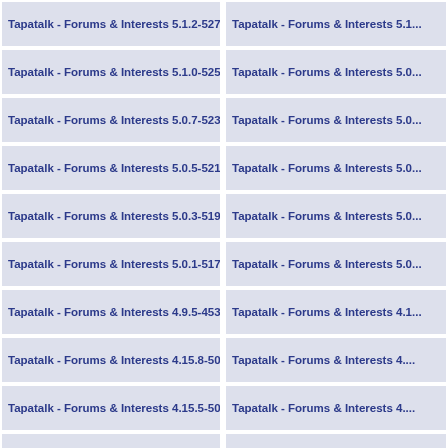Tapatalk - Forums & Interests 5.1.2-527
Tapatalk - Forums & Interests 5.1...
Tapatalk - Forums & Interests 5.1.0-525
Tapatalk - Forums & Interests 5.0...
Tapatalk - Forums & Interests 5.0.7-523
Tapatalk - Forums & Interests 5.0...
Tapatalk - Forums & Interests 5.0.5-521
Tapatalk - Forums & Interests 5.0...
Tapatalk - Forums & Interests 5.0.3-519
Tapatalk - Forums & Interests 5.0...
Tapatalk - Forums & Interests 5.0.1-517
Tapatalk - Forums & Interests 5.0...
Tapatalk - Forums & Interests 4.9.5-453
Tapatalk - Forums & Interests 4.1...
Tapatalk - Forums & Interests 4.15.8-508
Tapatalk - Forums & Interests 4....
Tapatalk - Forums & Interests 4.15.5-505
Tapatalk - Forums & Interests 4....
Tapatalk - Forums & Interests 4.15.3-503
Tapatalk - Forums & Interests 4....
Tapatalk - Forums & Interests 4.15.12-512
Tapatalk - Forums & Interests 4...
Tapatalk - Forums & Interests 4.15.10-510
Tapatalk - Forums & Interests 4...
Tapatalk - Forums & Interests 4.14.1-495
Tapatalk - Forums & Interests 4....
Tapatalk - Forums & Interests 4.13.6-492
Tapatalk - Forums & Interests 4....
Tapatalk - Forums & Interests 4.13.3-489
Tapatalk - Forums & Interests 4....